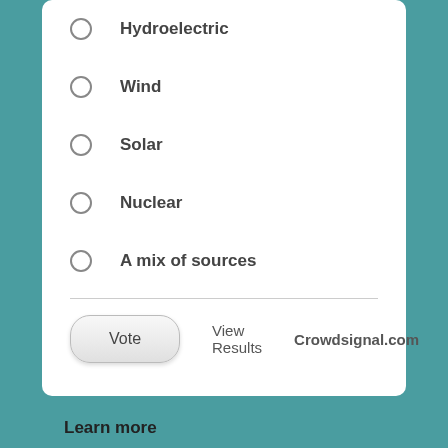Hydroelectric
Wind
Solar
Nuclear
A mix of sources
Vote   View Results   Crowdsignal.com
Learn more